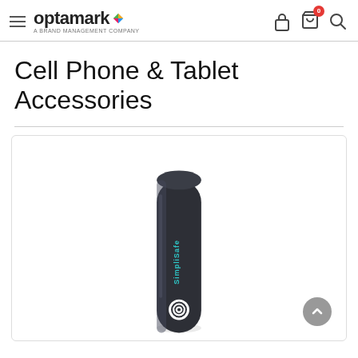optamark – A Brand Management Company
Cell Phone & Tablet Accessories
[Figure (photo): A dark cylindrical portable charger/power bank with 'SimpliSafe' branding printed on it. The device is shown vertically with a rounded top. The SimpliSafe logo with its circular icon is visible on the lower portion of the device.]